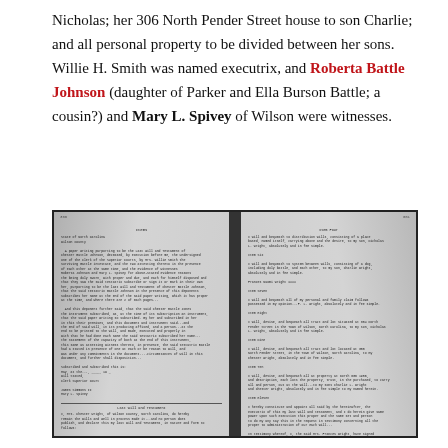Nicholas; her 306 North Pender Street house to son Charlie; and all personal property to be divided between her sons. Willie H. Smith was named executrix, and Roberta Battle Johnson (daughter of Parker and Ella Burson Battle; a cousin?) and Mary L. Spivey of Wilson were witnesses.
[Figure (photo): Photograph of an open book showing two pages of a handwritten or typed legal will document. Left page numbered 366 and right page numbered 361. The pages contain columns of typed text in small print representing will and testament entries. The book spine is visible in the center.]